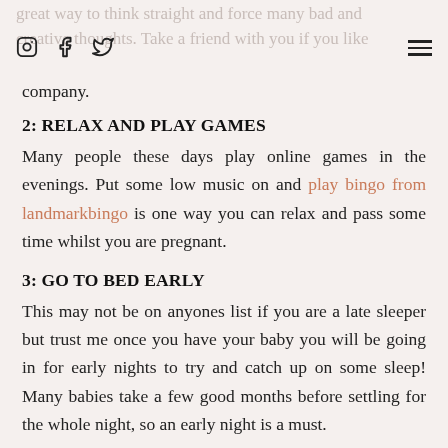Instagram, Facebook, Twitter icons and hamburger menu
company.
2: RELAX AND PLAY GAMES
Many people these days play online games in the evenings. Put some low music on and play bingo from landmarkbingo is one way you can relax and pass some time whilst you are pregnant.
3: GO TO BED EARLY
This may not be on anyones list if you are a late sleeper but trust me once you have your baby you will be going in for early nights to try and catch up on some sleep! Many babies take a few good months before settling for the whole night, so an early night is a must.